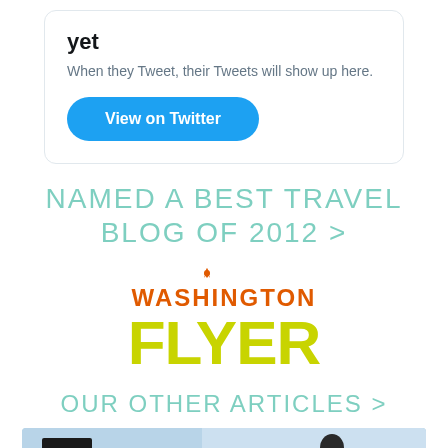yet
When they Tweet, their Tweets will show up here.
View on Twitter
NAMED A BEST TRAVEL BLOG OF 2012 >
[Figure (logo): Washington Flyer logo: WASHINGTON in orange uppercase letters with a compass/star icon above the A, FLYER in large yellow-green bold letters below]
OUR OTHER ARTICLES >
[Figure (photo): Partial photo showing what appears to be an aircraft or vehicle, with blue sky and a person visible]